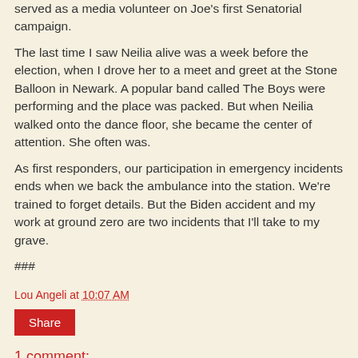served as a media volunteer on Joe's first Senatorial campaign.
The last time I saw Neilia alive was a week before the election, when I drove her to a meet and greet at the Stone Balloon in Newark. A popular band called The Boys were performing and the place was packed. But when Neilia walked onto the dance floor, she became the center of attention. She often was.
As first responders, our participation in emergency incidents ends when we back the ambulance into the station. We're trained to forget details. But the Biden accident and my work at ground zero are two incidents that I'll take to my grave.
###
Lou Angeli at 10:07 AM
Share
1 comment: